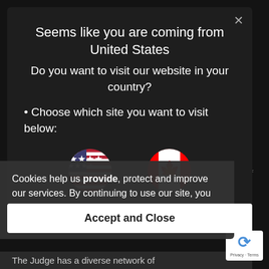advise about the range of potential options
identify appropriate markets for the risk
assist the lawyers with the presentation of the application for insurance
Seems like you are coming from United States
Do you want to visit our website in your country?
Choose which site you want to visit below:
[Figure (illustration): US flag circle and Canadian flag circle side by side]
Cookies help us provide, protect and improve our services. By continuing to use our site, you agree to our cookie policy.
Learn More
premiums and the terms of the various policies and the compliance and terms of the cover
advise whether the policy terms meet the requirements of the applicant
Accept and Close
The Judge has a diverse network of